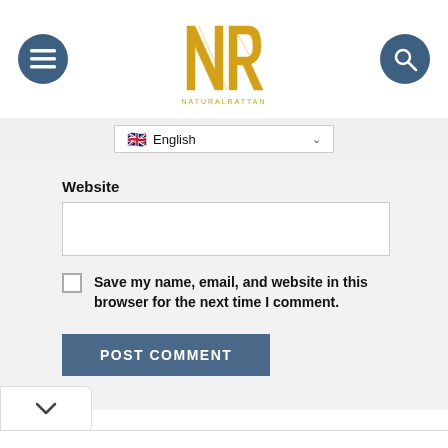[Figure (logo): NR Natural Rattan logo in gold/yellow with diagonal line design, centered in white header]
[Figure (screenshot): Blue circular hamburger menu button on top left]
[Figure (screenshot): Blue circular search/magnifier button on top right]
[Figure (screenshot): Language selector bar showing British flag and English with dropdown chevron]
Website
Save my name, email, and website in this browser for the next time I comment.
POST COMMENT
[Figure (screenshot): Dropdown chevron widget on bottom left]
[Figure (illustration): LEIBISH advertisement banner with yellow cushion-cut gemstone on right and brand name on left with close and play icons]